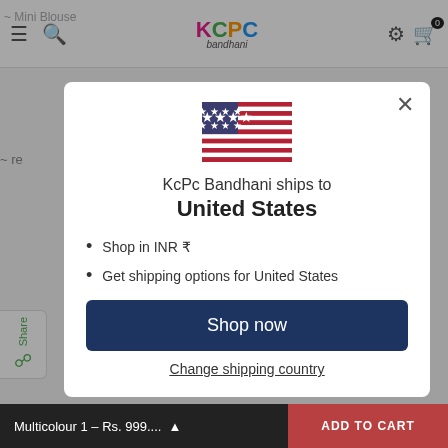[Figure (screenshot): Website screenshot of KCPC Bandhani shopping site with a modal dialog overlay showing shipping information for United States]
KcPc Bandhani ships to United States
Shop in INR ₹
Get shipping options for United States
Shop now
Change shipping country
Multicolour 1 – Rs. 999....
ADD TO CART